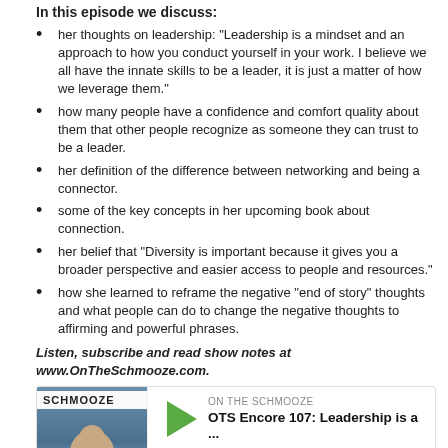In this episode we discuss:
her thoughts on leadership: “Leadership is a mindset and an approach to how you conduct yourself in your work. I believe we all have the innate skills to be a leader, it is just a matter of how we leverage them.”
how many people have a confidence and comfort quality about them that other people recognize as someone they can trust to be a leader.
her definition of the difference between networking and being a connector.
some of the key concepts in her upcoming book about connection.
her belief that “Diversity is important because it gives you a broader perspective and easier access to people and resources.”
how she learned to reframe the negative “end of story” thoughts and what people can do to change the negative thoughts to affirming and powerful phrases.
Listen, subscribe and read show notes at www.OnTheSchmooze.com.
[Figure (screenshot): Podcast player widget for 'On The Schmooze' showing episode 'OTS Encore 107: Leadership is a ...' with play button, progress bar, and controls including 30-second skip, timestamp 00:00:00, and icons.]
Download this Episode